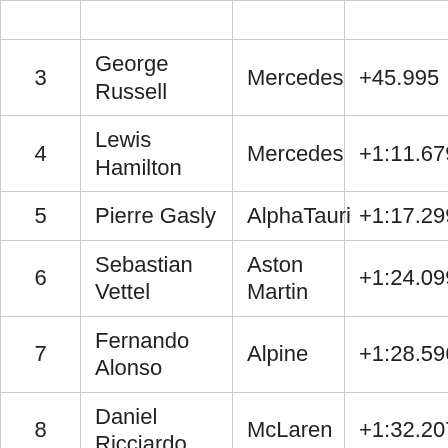| Pos | Driver | Constructor | Time/Gap |
| --- | --- | --- | --- |
| 3 | George Russell | Mercedes | +45.995 |
| 4 | Lewis Hamilton | Mercedes | +1:11.679 |
| 5 | Pierre Gasly | AlphaTauri | +1:17.299 |
| 6 | Sebastian Vettel | Aston Martin | +1:24.099 |
| 7 | Fernando Alonso | Alpine | +1:28.596 |
| 8 | Daniel Ricciardo | McLaren | +1:32.207 |
| 9 | Lando Norris | McLaren | +1:32.556 |